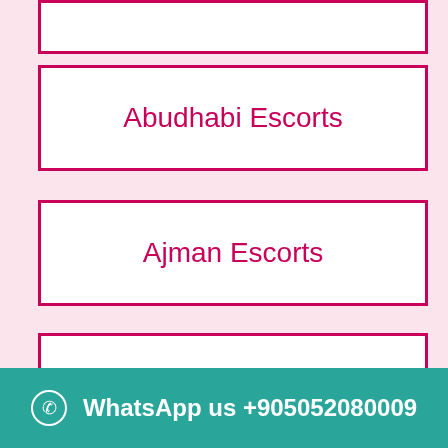Abudhabi Escorts
Ajman Escorts
Burdubai Escort
Fujairah Escort
WhatsApp us +905052080009